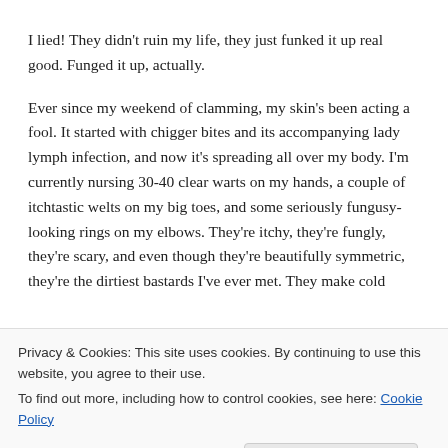I lied! They didn't ruin my life, they just funked it up real good. Funged it up, actually.
Ever since my weekend of clamming, my skin's been acting a fool. It started with chigger bites and its accompanying lady lymph infection, and now it's spreading all over my body. I'm currently nursing 30-40 clear warts on my hands, a couple of itchtastic welts on my big toes, and some seriously fungusy-looking rings on my elbows. They're itchy, they're fungly, they're scary, and even though they're beautifully symmetric, they're the dirtiest bastards I've ever met. They make cold sores look like cankers, for goodness' sake.
Privacy & Cookies: This site uses cookies. By continuing to use this website, you agree to their use.
To find out more, including how to control cookies, see here: Cookie Policy
Close and accept
[Figure (photo): Partial photo visible at bottom of page, appears to show a face.]